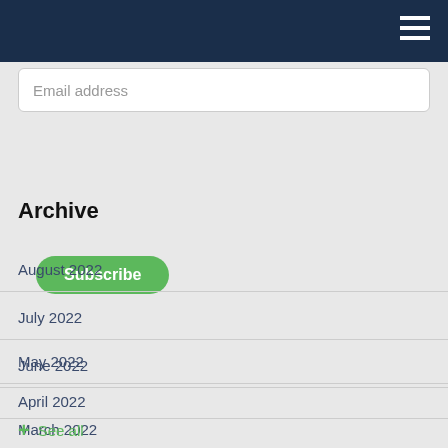Email address
Subscribe
Archive
August 2022
July 2022
June 2022
May 2022
April 2022
March 2022
+ See all